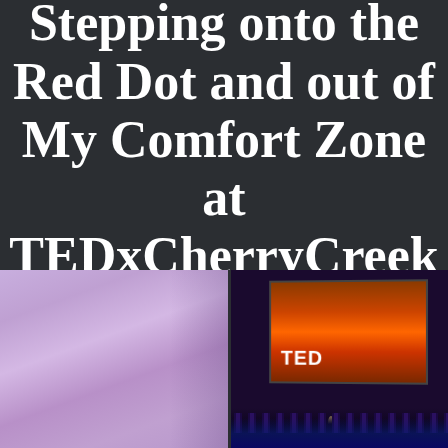Stepping onto the Red Dot and out of My Comfort Zone at TEDxCherryCreek
[Figure (photo): Photo collage showing two images from a TEDx event. Left image shows a purple/lavender lit interior space. Right image shows the TED stage with red/orange lighting and 'TED' text visible on a projection screen, with audience silhouettes visible in the foreground and blue ambient lighting.]